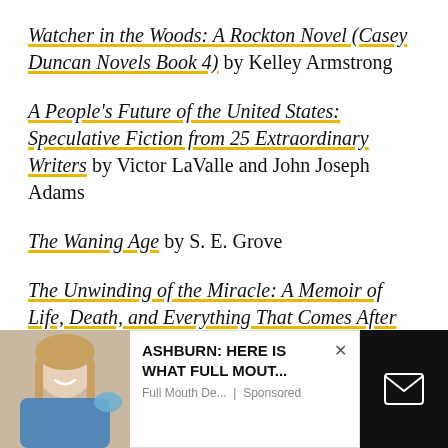Watcher in the Woods: A Rockton Novel (Casey Duncan Novels Book 4) by Kelley Armstrong
A People's Future of the United States: Speculative Fiction from 25 Extraordinary Writers by Victor LaValle and John Joseph Adams
The Waning Age by S. E. Grove
The Unwinding of the Miracle: A Memoir of Life, Death, and Everything That Comes After by Julie Yin-Williams
[Figure (other): Advertisement overlay showing a woman smiling at a dental office, with ad text: ASHBURN: HERE IS WHAT FULL MOUT... Full Mouth De... | Sponsored, and a dark panel with envelope icon]